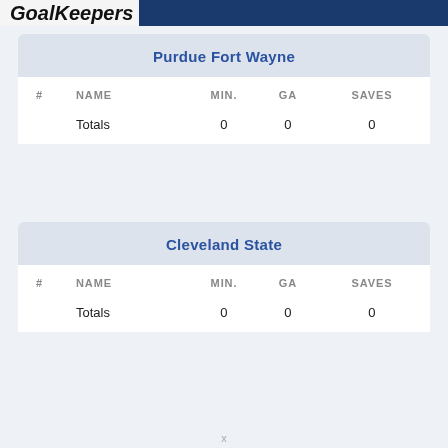GoalKeepers
Purdue Fort Wayne
| # | NAME | MIN. | GA | SAVES |
| --- | --- | --- | --- | --- |
|  | Totals | 0 | 0 | 0 |
Cleveland State
| # | NAME | MIN. | GA | SAVES |
| --- | --- | --- | --- | --- |
|  | Totals | 0 | 0 | 0 |